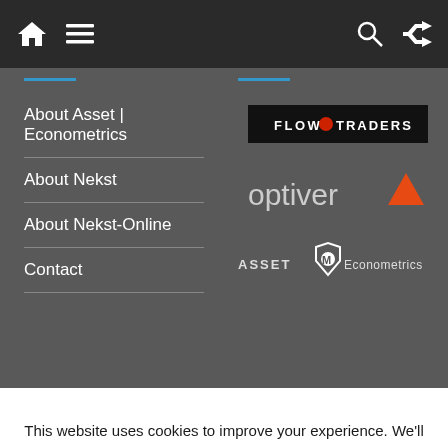Navigation bar with home icon, menu icon, search icon, shuffle icon
About Asset | Econometrics
About Nekst
About Nekst-Online
Contact
[Figure (logo): Flow Traders logo — white text on black background]
[Figure (logo): Optiver logo — dark text with orange triangle]
[Figure (logo): ASSET Econometrics logo — white diamond shape with text]
This website uses cookies to improve your experience. We'll assume you're ok with this, but you can opt-out if you wish.
Cookie settings
ACCEPT